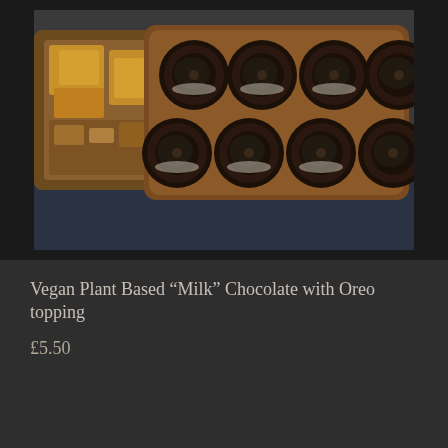[Figure (photo): A milk chocolate bar topped with Oreo cookies arranged in a grid pattern (2 rows of 4), alongside a chocolate-covered biscuit tray with crumbled cookies, photographed on a dark slate surface.]
Vegan Plant Based “Milk” Chocolate with Oreo topping
£5.50